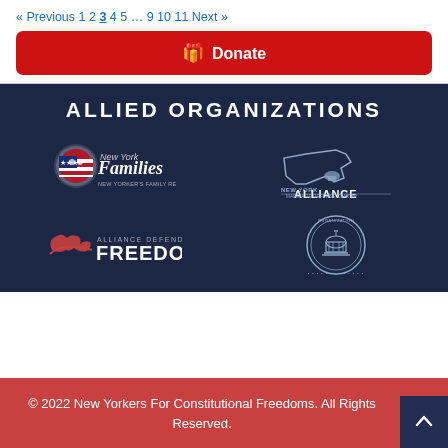« Previous 1 2 3 4 5 … 9 10 11 Next »
[Figure (other): Red Donate button with gift icon]
ALLIED ORGANIZATIONS
[Figure (logo): New York Families - New Yorker's Family Research Foundation logo]
[Figure (logo): New York Alliance logo]
[Figure (logo): Alliance Defending Freedom logo]
[Figure (logo): Capitol building circular seal logo]
© 2022 New Yorkers For Constitutional Freedoms. All Rights Reserved.